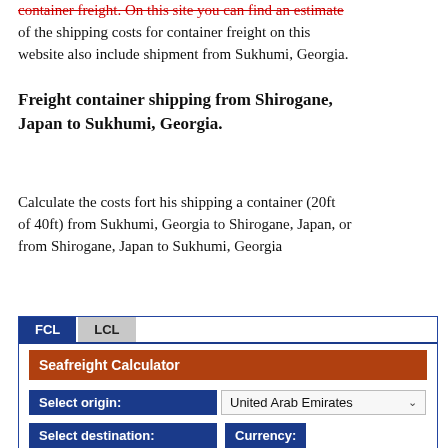container freight. On this site you can find an estimate of the shipping costs for container freight on this website also include shipment from Sukhumi, Georgia.
Freight container shipping from Shirogane, Japan to Sukhumi, Georgia.
Calculate the costs fort his shipping a container (20ft of 40ft) from Sukhumi, Georgia to Shirogane, Japan, or from Shirogane, Japan to Sukhumi, Georgia
[Figure (screenshot): Web widget with FCL/LCL tabs, a Seafreight Calculator header bar in dark red/orange, a 'Select origin:' dropdown showing 'United Arab Emirates', and a partially visible bottom row with 'Select destination:' and 'Currency:' labels in dark blue.]